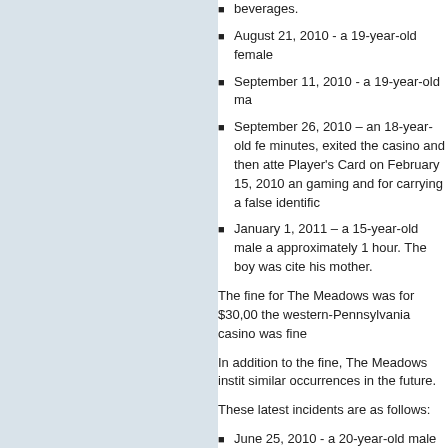beverages.
August 21, 2010 - a 19-year-old female
September 11, 2010 - a 19-year-old ma
September 26, 2010 – an 18-year-old fe minutes, exited the casino and then atte Player's Card on February 15, 2010 an gaming and for carrying a false identific
January 1, 2011 – a 15-year-old male a approximately 1 hour. The boy was cite his mother.
The fine for The Meadows was for $30,00 the western-Pennsylvania casino was fine
In addition to the fine, The Meadows instit similar occurrences in the future.
These latest incidents are as follows:
June 25, 2010 - a 20-year-old male acc consumed alcoholic beverages. He was
July 24, 2010 – two children, ages 9 an only a matter of minutes, and the mothe
November 27, 2010 – a 3-year-old chil gaming floor for only a matter of minute
The next regularly scheduled Board meeti